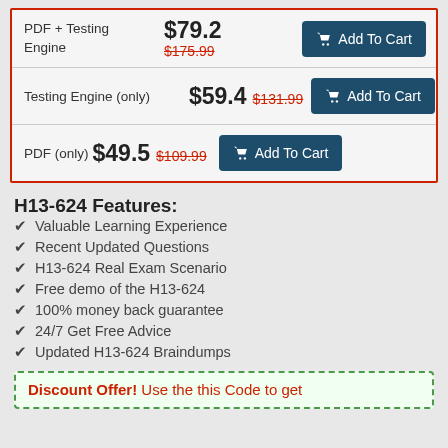| Product | Price | Old Price | Action |
| --- | --- | --- | --- |
| PDF + Testing Engine | $79.2 | $175.99 | Add To Cart |
| Testing Engine (only) | $59.4 | $131.99 | Add To Cart |
| PDF (only) | $49.5 | $109.99 | Add To Cart |
H13-624 Features:
Valuable Learning Experience
Recent Updated Questions
H13-624 Real Exam Scenario
Free demo of the H13-624
100% money back guarantee
24/7 Get Free Advice
Updated H13-624 Braindumps
Discount Offer! Use the this Code to get